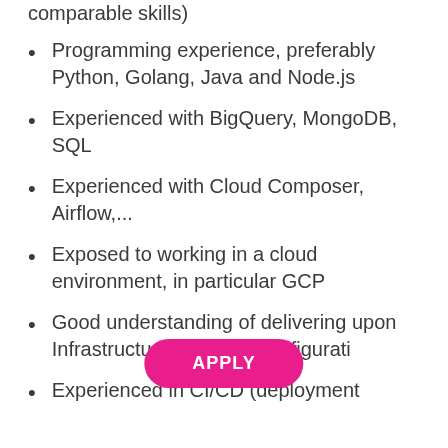comparable skills)
Programming experience, preferably Python, Golang, Java and Node.js
Experienced with BigQuery, MongoDB, SQL
Experienced with Cloud Composer, Airflow,...
Exposed to working in a cloud environment, in particular GCP
Good understanding of delivering upon Infrastructure including Configuration
Experienced in CI/CD (deployment
[Figure (other): Pink/magenta rounded rectangle APPLY button overlay]